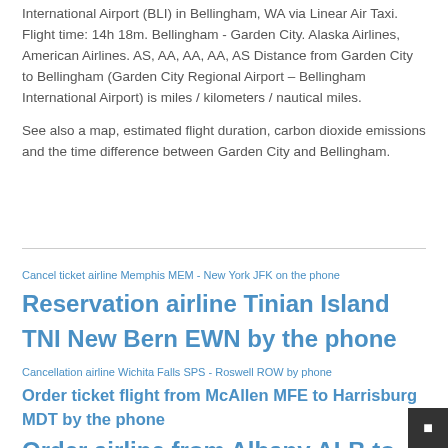International Airport (BLI) in Bellingham, WA via Linear Air Taxi. Flight time: 14h 18m. Bellingham - Garden City. Alaska Airlines, American Airlines. AS, AA, AA, AA, AS Distance from Garden City to Bellingham (Garden City Regional Airport – Bellingham International Airport) is miles / kilometers / nautical miles.
See also a map, estimated flight duration, carbon dioxide emissions and the time difference between Garden City and Bellingham.
Cancel ticket airline Memphis MEM - New York JFK on the phone
Reservation airline Tinian Island TNI New Bern EWN by the phone
Cancellation airline Wichita Falls SPS - Roswell ROW by phone
Order ticket flight from McAllen MFE to Harrisburg MDT by the phone
Order airline from Albany ALB to Mammoth Lakes MMH over call